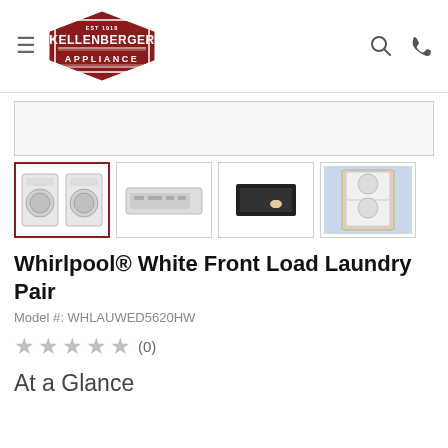Kellenberger Appliance
[Figure (screenshot): Empty banner/advertisement area with light gray background]
[Figure (photo): Product thumbnail gallery: 4 images of Whirlpool front load laundry pair. First image (selected, red border) shows washer and dryer side by side. Second shows control panel close-up. Third shows hand touching control. Fourth shows stacked unit in laundry room.]
Whirlpool® White Front Load Laundry Pair
Model #: WHLAUWED5620HW
★★★★★ (0)
At a Glance